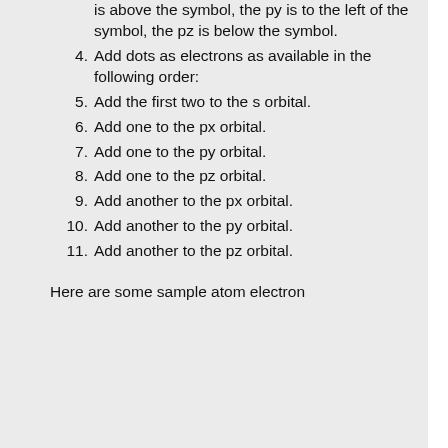is above the symbol, the py is to the left of the symbol, the pz is below the symbol.
4. Add dots as electrons as available in the following order:
5. Add the first two to the s orbital.
6. Add one to the px orbital.
7. Add one to the py orbital.
8. Add one to the pz orbital.
9. Add another to the px orbital.
10. Add another to the py orbital.
11. Add another to the pz orbital.
Here are some sample atom electron